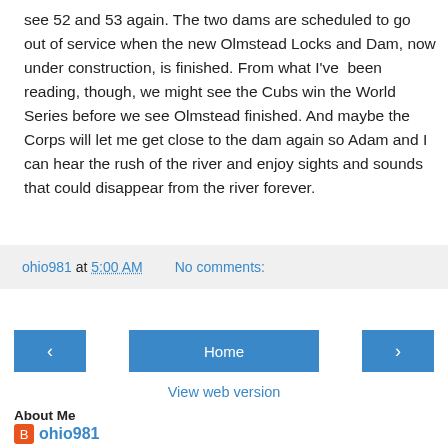see 52 and 53 again. The two dams are scheduled to go out of service when the new Olmstead Locks and Dam, now under construction, is finished. From what I've been reading, though, we might see the Cubs win the World Series before we see Olmstead finished. And maybe the Corps will let me get close to the dam again so Adam and I can hear the rush of the river and enjoy sights and sounds that could disappear from the river forever.
ohio981 at 5:00 AM    No comments:
‹   Home   ›
View web version
About Me
ohio981
Huntington, WV, United States
I love the Ohio River, I enjoy reading about the river, smelling the